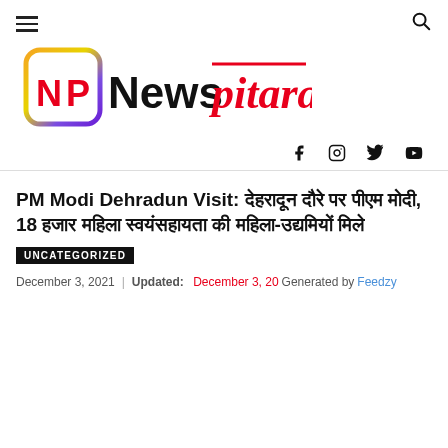Newspitara - menu and search
[Figure (logo): Newspitara logo with NP in a colorful rounded square bracket and 'Newspitara' text in black and red]
Social icons: Facebook, Instagram, Twitter, YouTube
PM Modi Dehradun Visit: देहरादून दौरे पर पीएम मोदी, 18 हजार महिला स्वयंसहायता की महिला- उद्यमियों मिले
UNCATEGORIZED
December 3, 2021 | Updated: December 3, 2021 Generated by Feedzy